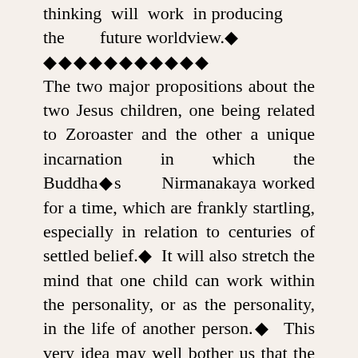thinking will work in producing the future worldview.◆
◆◆◆◆◆◆◆◆◆◆◆
The two major propositions about the two Jesus children, one being related to Zoroaster and the other a unique incarnation in which the Buddha◆s Nirmanakaya worked for a time, which are frankly startling, especially in relation to centuries of settled belief.◆ It will also stretch the mind that one child can work within the personality, or as the personality, in the life of another person.◆ This very idea may well bother us that the Nathan child◆s identity seems to be stolen by such a process.◆ These questions arise out of a worldview that is quite different than the one in